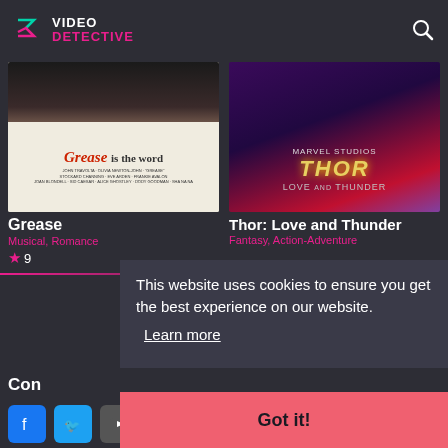Video Detective
[Figure (photo): Movie poster for Grease showing 'Grease is the word' text with film credits]
Grease
Musical, Romance
9
[Figure (photo): Movie poster for Thor: Love and Thunder showing Thor in armor with Marvel Studios branding]
Thor: Love and Thunder
Fantasy, Action-Adventure
This website uses cookies to ensure you get the best experience on our website.
Learn more
Conn
Got it!